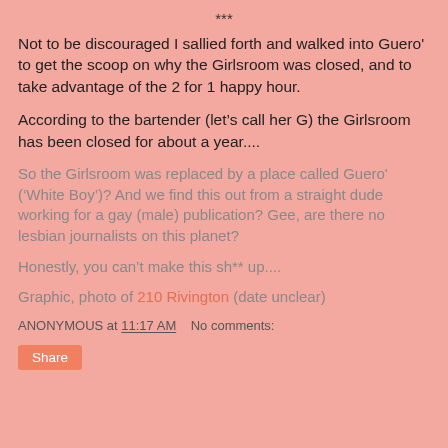***
Not to be discouraged I sallied forth and walked into Guero' to get the scoop on why the Girlsroom was closed, and to take advantage of the 2 for 1 happy hour.
According to the bartender (let’s call her G) the Girlsroom has been closed for about a year....
So the Girlsroom was replaced by a place called Guero' ('White Boy')? And we find this out from a straight dude working for a gay (male) publication? Gee, are there no lesbian journalists on this planet?
Honestly, you can't make this sh** up....
Graphic, photo of 210 Rivington (date unclear)
ANONYMOUS at 11:17 AM    No comments:
Share